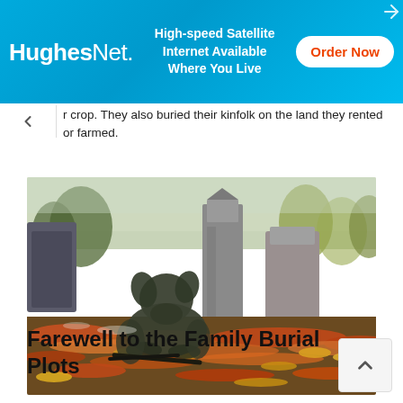[Figure (other): HughesNet advertisement banner with blue gradient background. Shows HughesNet logo on left, 'High-speed Satellite Internet Available Where You Live' text in center, and 'Order Now' button on right.]
r crop. They also buried their kinfolk on the land they rented or farmed.
[Figure (photo): Cemetery scene with a stone dog statue lying among autumn fallen leaves (orange, red, yellow). Stone grave markers and trees visible in background with fall foliage.]
Farewell to the Family Burial Plots